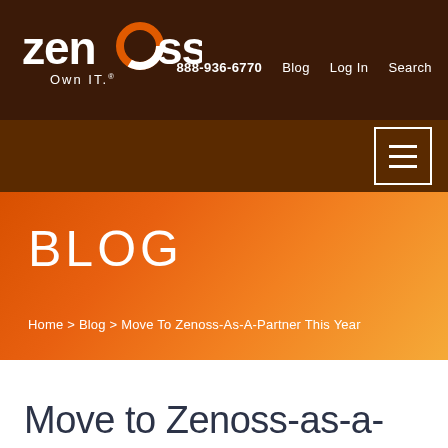[Figure (logo): Zenoss logo with white text and orange 'o' graphic, tagline 'Own IT.']
888-936-6770   Blog   Log In   Search
[Figure (other): Hamburger menu icon (three horizontal lines) inside a white-bordered square on dark brown background]
BLOG
Home > Blog > Move To Zenoss-As-A-Partner This Year
Move to Zenoss-as-a-